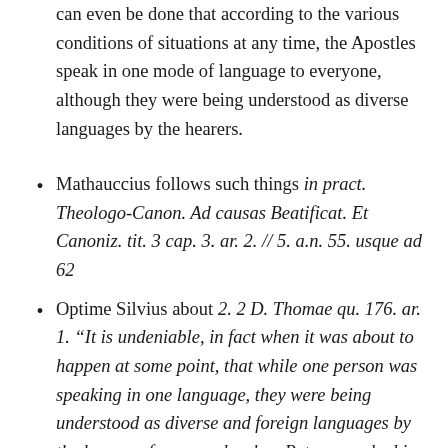can even be done that according to the various conditions of situations at any time, the Apostles speak in one mode of language to everyone, although they were being understood as diverse languages by the hearers.
Mathauccius follows such things in pract. Theologo-Canon. Ad causas Beatificat. Et Canoniz. tit. 3 cap. 3. ar. 2. // 5. a.n. 55. usque ad 62
Optime Silvius about 2. 2 D. Thomae qu. 176. ar. 1. “It is undeniable, in fact when it was about to happen at some point, that while one person was speaking in one language, they were being understood as diverse and foreign languages by the hearers, for example when Peter preached in a raised voice to the